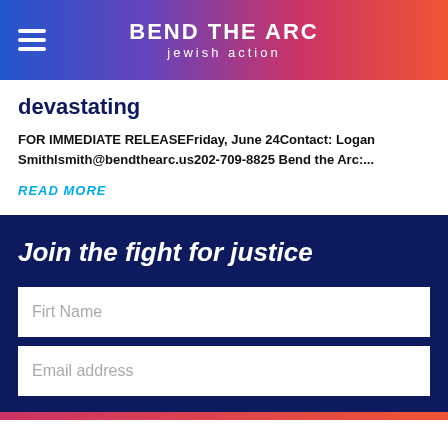BEND THE ARC jewish action
devastating
FOR IMMEDIATE RELEASEFriday, June 24Contact: Logan Smithlsmith@bendthearc.us202-709-8825 Bend the Arc:...
READ MORE
Join the fight for justice
Firt Name
Email address